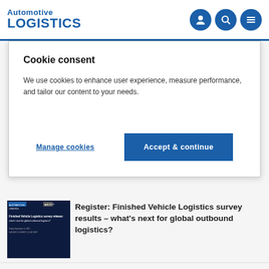Automotive LOGISTICS
Cookie consent
We use cookies to enhance user experience, measure performance, and tailor our content to your needs.
Manage cookies
Accept & continue
Register: Finished Vehicle Logistics survey results – what's next for global outbound logistics?
Floods hit auto production and supply in South Africa